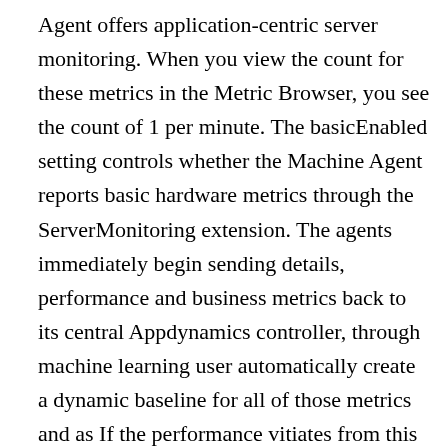Agent offers application-centric server monitoring. When you view the count for these metrics in the Metric Browser, you see the count of 1 per minute. The basicEnabled setting controls whether the Machine Agent reports basic hardware metrics through the ServerMonitoring extension. The agents immediately begin sending details, performance and business metrics back to its central Appdynamics controller, through machine learning user automatically create a dynamic baseline for all of those metrics and as If the performance vitiates from this line we begin capturing those transactions snapshots down to the individual line of the code. This extension works only with the standalone